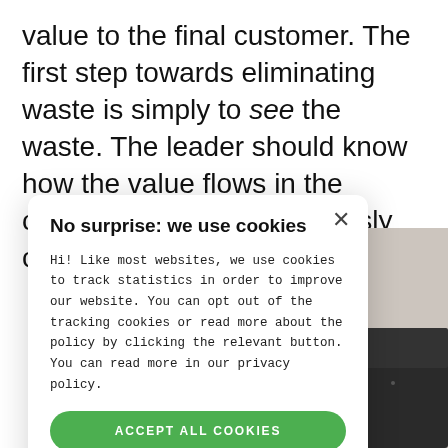value to the final customer. The first step towards eliminating waste is simply to see the waste. The leader should know how the value flows in the organization and continuously challenge the current p
[Figure (photo): Background photo of a person near a piano or dark object, against a light grey wall, partially visible behind the cookie consent modal.]
No surprise: we use cookies

Hi! Like most websites, we use cookies to track statistics in order to improve our website. You can opt out of the tracking cookies or read more about the policy by clicking the relevant button. You can read more in our privacy policy.

ACCEPT ALL COOKIES

DECLINE ALL COOKIES

⚙ SHOW DETAILS